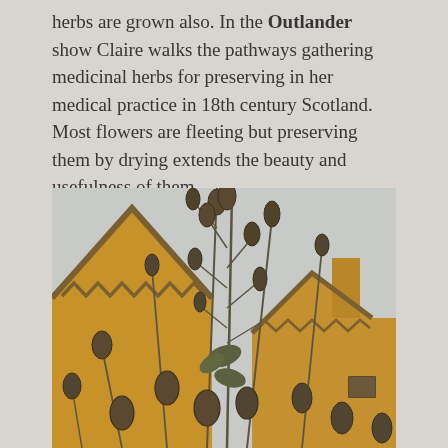herbs are grown also. In the Outlander show Claire walks the pathways gathering medicinal herbs for preserving in her medical practice in 18th century Scotland. Most flowers are fleeting but preserving them by drying extends the beauty and usefulness of them.
[Figure (photo): Tall teasel plants with dried spiky seed heads in front of a traditional Scottish stone building with zigzag stepped gable roofline, ochre/golden-yellow rendered walls, and a grey overcast sky.]